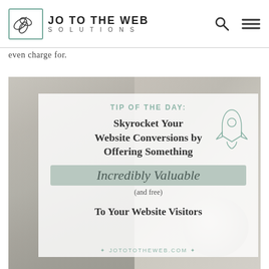JO TO THE WEB SOLUTIONS
even charge for.
[Figure (infographic): Promotional infographic image with a background photo of hands typing on a laptop and a coffee cup. A semi-transparent white card overlay contains text reading: TIP OF THE DAY: Skyrocket Your Website Conversions by Offering Something Incredibly Valuable (and free) To Your Website Visitors. A rocket icon is in the upper right of the card. The URL jotototheweb.com appears at the bottom.]